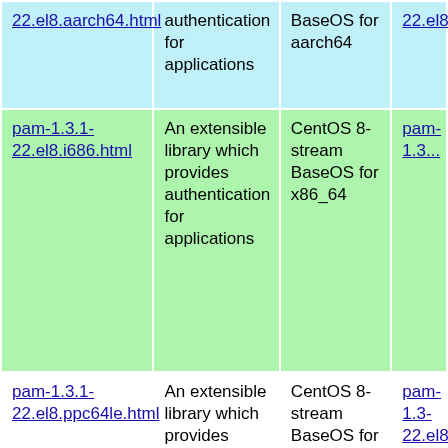| 22.el8.aarch64.html (partial) | authentication for applications | BaseOS for aarch64 | 22.el8.a... |
| pam-1.3.1-22.el8.i686.html | An extensible library which provides authentication for applications | CentOS 8-stream BaseOS for x86_64 | pam-1.3... |
| pam-1.3.1-22.el8.ppc64le.html | An extensible library which provides authentication for applications | CentOS 8-stream BaseOS for ppc64le | pam-1.3-22.el8.pp... |
| pam-1.3.1-22.el8.x86_64.html | An extensible library which provides authentication for applications | CentOS 8-stream BaseOS for x86_64 | pam-1.3-22.el8.xa... |
| pam-1.3.1-21.el8.aarch64.html | An extensible library which provides authentication | CentOS 8-stream BaseOS for | pam-1.3-21.el8.a... |